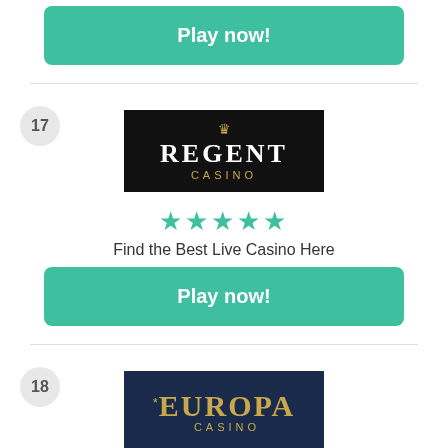Play now!
[Figure (logo): Regent Casino logo — black background, crown icon, REGENT in white serif, CASINO in gold]
★★★★★
Find the Best Live Casino Here
Play now!
[Figure (logo): Europa Casino logo — dark navy background, *EUROPA in gold serif, CASINO in gold]
★★★★★
2400$/€ Welcome to New Players